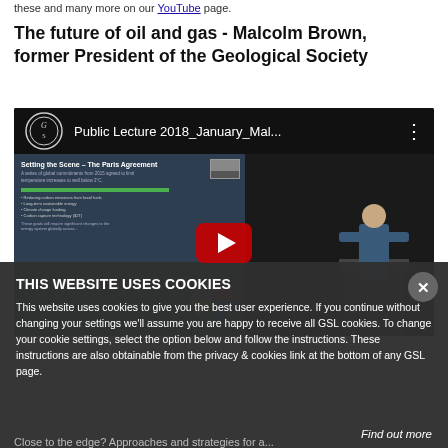these and many more on our YouTube page.
The future of oil and gas - Malcolm Brown, former President of the Geological Society
[Figure (screenshot): YouTube video embed showing 'Public Lecture 2018_January_Mal...' with a Geological Society logo, a slide preview showing 'Setting the Scene - The Paris Agreement' with a pie chart, and a speaker at a podium on the right side. A red play button is visible in the center.]
THIS WEBSITE USES COOKIES
This website uses cookies to give you the best user experience. If you continue without changing your settings we'll assume you are happy to receive all GSL cookies. To change your cookie settings, select the option below and follow the instructions. These instructions are also obtainable from the privacy & cookies link at the bottom of any GSL page.
Find out more
Close to the edge? Approaches and strategies for a...